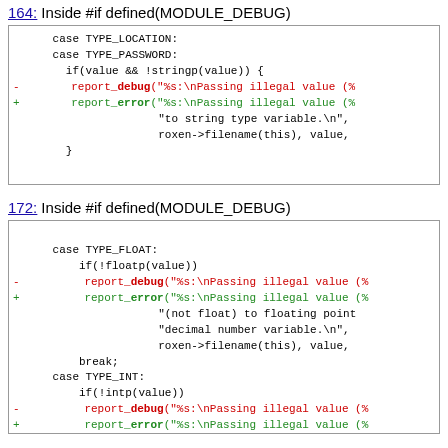164: Inside #if defined(MODULE_DEBUG)
case TYPE_LOCATION:
case TYPE_PASSWORD:
  if(value && !stringp(value)) {
-     report_debug("%s:\nPassing illegal value (%
+     report_error("%s:\nPassing illegal value (%
                    "to string type variable.\n",
                    roxen->filename(this), value,
  }
172: Inside #if defined(MODULE_DEBUG)
case TYPE_FLOAT:
    if(!floatp(value))
-       report_debug("%s:\nPassing illegal value (%
+       report_error("%s:\nPassing illegal value (%
                    "(not float) to floating point
                    "decimal number variable.\n",
                    roxen->filename(this), value,
    break;
  case TYPE_INT:
    if(!intp(value))
-       report_debug("%s:\nPassing illegal value (%
+       report_error("%s:\nPassing illegal value (%